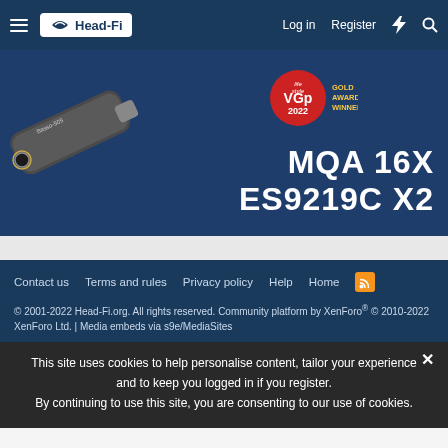Head-Fi | Log in | Register
[Figure (photo): Advertisement banner for a portable DAC/amplifier device showing 'MQA 16X ES9219C X2' with VGP 2022 Gold Award Winner badge on dark blue background]
Contact us | Terms and rules | Privacy policy | Help | Home
© 2001-2022 Head-Fi.org. All rights reserved. Community platform by XenForo® © 2010-2022 XenForo Ltd. | Media embeds via s9e/MediaSites
This site uses cookies to help personalise content, tailor your experience and to keep you logged in if you register. By continuing to use this site, you are consenting to our use of cookies.